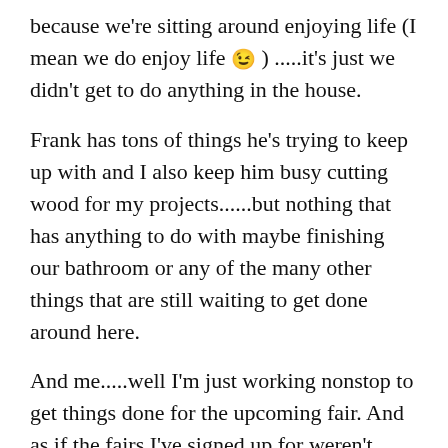because we're sitting around enjoying life (I mean we do enjoy life 😉 ) .....it's just we didn't get to do anything in the house.
Frank has tons of things he's trying to keep up with and I also keep him busy cutting wood for my projects......but nothing that has anything to do with maybe finishing our bathroom or any of the many other things that are still waiting to get done around here.
And me.....well I'm just working nonstop to get things done for the upcoming fair. And as if the fairs I've signed up for weren't enough......I also signed up for 10 farmers markets over the summer 😉 !
So right now I'm just trying to do what I can to get ahead of things and build up a little stock of items.